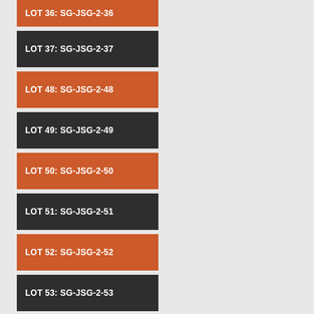LOT 36: SG-JSG-2-36
LOT 37: SG-JSG-2-37
LOT 48: SG-JSG-2-48
LOT 49: SG-JSG-2-49
LOT 50: SG-JSG-2-50
LOT 51: SG-JSG-2-51
LOT 52: SG-JSG-2-52
LOT 53: SG-JSG-2-53
LOT 54: SG-JSG-2-54